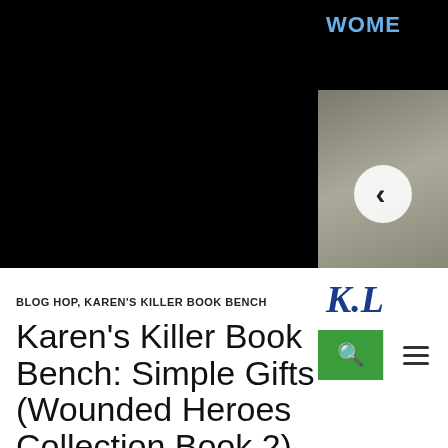[Figure (screenshot): Website header area showing a dark/black banner image on the left, and on the right a partially visible text 'WOME' in blue, a photo with a navigation arrow circle (<), and partial 'K.L' text in blue italic, plus a green search button and white menu button.]
BLOG HOP, KAREN'S KILLER BOOK BENCH
Karen's Killer Book Bench: Simple Gifts (Wounded Heroes Collection Book 2) by